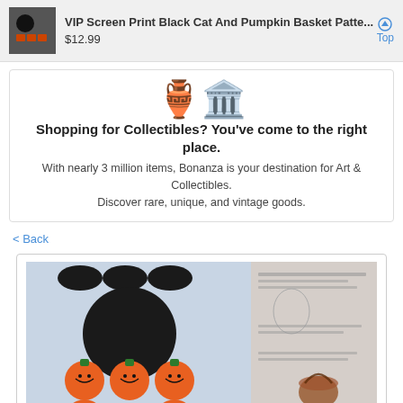VIP Screen Print Black Cat And Pumpkin Basket Patte... $12.99
[Figure (illustration): Two decorative vases emoji illustration]
Shopping for Collectibles? You've come to the right place.
With nearly 3 million items, Bonanza is your destination for Art & Collectibles. Discover rare, unique, and vintage goods.
< Back
[Figure (photo): Screen print fabric panel showing black cat and pumpkin basket Halloween pattern with cut-out pieces including black cat body parts and orange jack-o-lantern pumpkins]